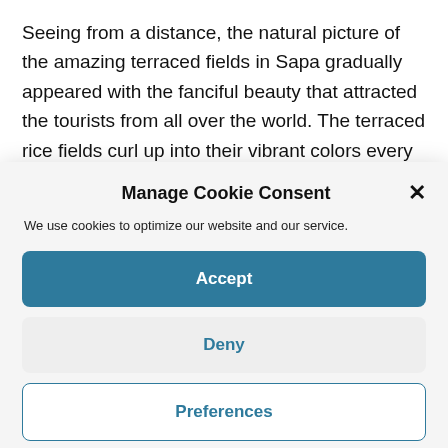Seeing from a distance, the natural picture of the amazing terraced fields in Sapa gradually appeared with the fanciful beauty that attracted the tourists from all over the world. The terraced rice fields curl up into their vibrant colors every season of the year. From spring to summer, the plots are watered to prepare for
Manage Cookie Consent
We use cookies to optimize our website and our service.
Accept
Deny
Preferences
Terms of Service